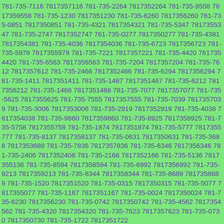781-735-7116 7817357116 781-735-2264 7817352264 781-735-9558 7817359558 781-735-1230 7817351230 781-735-6260 7817356260 781-735-0851 7817350851 781-735-4321 7817354321 781-735-5347 7817355347 781-735-2747 7817352747 781-735-0277 7817350277 781-735-4381 7817354381 781-735-4036 7817354036 781-735-6723 7817356723 781-735-5978 7817355978 781-735-7221 7817357221 781-735-4420 7817354420 781-735-6563 7817356563 781-735-7204 7817357204 781-735-7612 7817357612 781-735-2466 7817352466 781-735-6294 7817356294 781-735-1411 7817351411 781-735-1467 7817351467 781-735-6212 7817356212 781-735-1468 7817351468 781-735-7077 7817357077 781-735-5625 7817355625 781-735-7555 7817357555 781-735-7039 7817357039 781-735-3006 7817353006 781-735-2919 7817352919 781-735-4038 7817354038 781-735-9860 7817359860 781-735-8925 7817358925 781-735-5758 7817355758 781-735-1874 7817351874 781-735-5777 7817355777 781-735-8137 7817358137 781-735-0631 7817350631 781-735-3688 7817353688 781-735-7836 7817357836 781-735-6346 7817356346 781-735-2406 7817352406 781-735-2166 7817352166 781-735-5136 7817355136 781-735-8594 7817358594 781-735-6992 7817356992 781-735-9213 7817359213 781-735-8344 7817358344 781-735-8689 7817358689 781-735-1520 7817351520 781-735-0315 7817350315 781-735-5077 7817355077 781-735-1167 7817351167 781-735-0024 7817350024 781-735-6230 7817356230 781-735-0742 7817350742 781-735-4562 7817354562 781-735-4320 7817354320 781-735-7623 7817357623 781-735-0730 7817350730 781-735-1722 7817351722